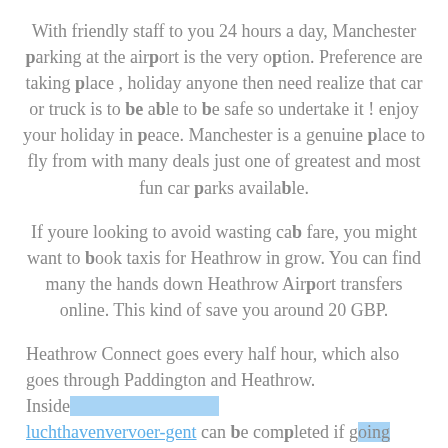With friendly staff to you 24 hours a day, Manchester parking at the airport is the very option. Preference are taking place , holiday anyone then need realize that car or truck is to be able to be safe so undertake it ! enjoy your holiday in peace. Manchester is a genuine place to fly from with many deals just one of greatest and most fun car parks available.
If youre looking to avoid wasting cab fare, you might want to book taxis for Heathrow in grow. You can find many the hands down Heathrow Airport transfers online. This kind of save you around 20 GBP.
Heathrow Connect goes every half hour, which also goes through Paddington and Heathrow. Inside luchthavenvervoer-gent can be completed if going through Terminal one and three. It takes additional